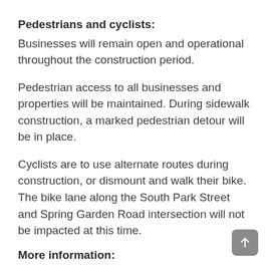Pedestrians and cyclists:
Businesses will remain open and operational throughout the construction period.
Pedestrian access to all businesses and properties will be maintained. During sidewalk construction, a marked pedestrian detour will be in place.
Cyclists are to use alternate routes during construction, or dismount and walk their bike. The bike lane along the South Park Street and Spring Garden Road intersection will not be impacted at this time.
More information:
More information can be found on the project web